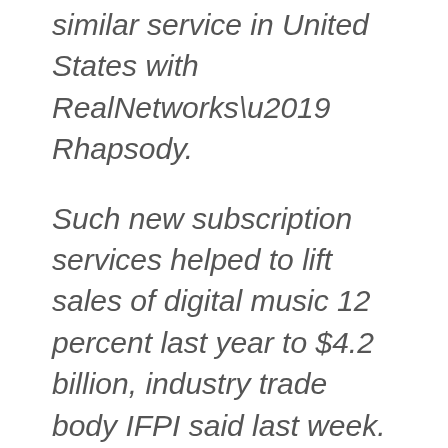similar service in United States with RealNetworks’ Rhapsody.
Such new subscription services helped to lift sales of digital music 12 percent last year to $4.2 billion, industry trade body IFPI said last week.
“As the world’s biggest PC vendor, HP has huge opportunity to create a viable competitor to iTunes due to its scale,” said Rob Lewis, chief